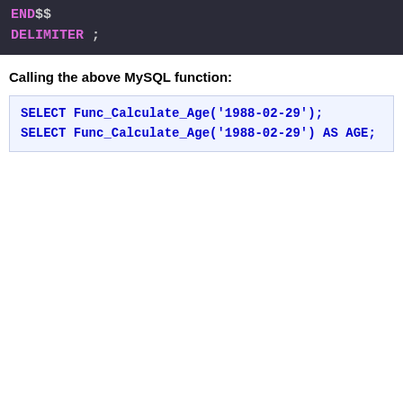[Figure (screenshot): Dark-themed code block showing END$$ and DELIMITER ; in pink/magenta monospace font on dark background]
Calling the above MySQL function:
[Figure (screenshot): Light blue code block showing two SELECT statements in blue monospace font: SELECT Func_Calculate_Age('1988-02-29'); and SELECT Func_Calculate_Age('1988-02-29') AS AGE;]